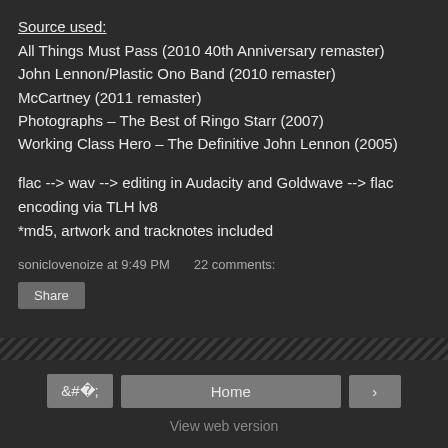Source used:
All Things Must Pass (2010 40th Anniversary remaster)
John Lennon/Plastic Ono Band (2010 remaster)
McCartney (2011 remaster)
Photographs – The Best of Ringo Starr (2007)
Working Class Hero – The Definitive John Lennon (2005)
flac --> wav --> editing in Audacity and Goldwave --> flac encoding via TLH lv8
*md5, artwork and tracknotes included
soniclovenoize at 9:49 PM    22 comments:
Share
Home
View web version